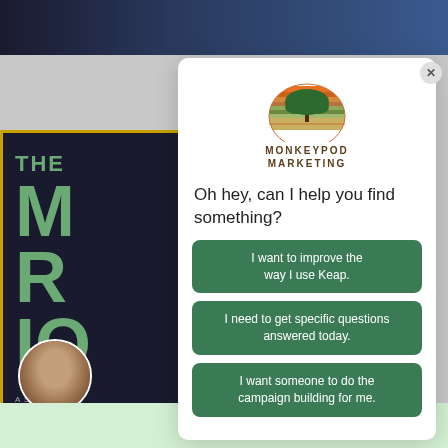[Figure (screenshot): Screenshot of a webpage showing a Monkeypod Marketing chat/popup widget overlay on a website. The background shows a partial book cover with green text on dark background (THE M R IO, A SMALL BUSI) and a top navigation bar. A white modal popup is displayed with the Monkeypod Marketing logo (tree with striped sunset), the question 'Oh hey, can I help you find something?', and three green buttons: 'I want to improve the way I use Keap.', 'I need to get specific questions answered today.', 'I want someone to do the campaign building for me.' A close X button is in the top right of the modal. A circular avatar photo of a bearded man is visible at bottom left.]